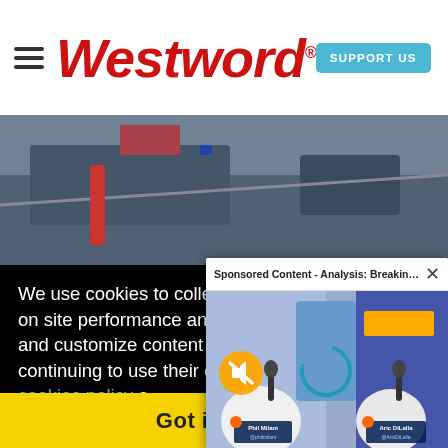Westword — SUPPORT US — Navigation header
[Figure (photo): Partial photo of mechanical/roofing work visible above cookie notice]
We use cookies to collect and analyze information on site performance and usage, and to enhance and customize content and advertisements. By continuing to use the site, you agree to allow cookies to be placed. To find out more, visit our cookies policy a…
[Figure (screenshot): Sponsored Content video popup – Analysis: Breaking … – showing Phil Milani and Aric DiLalla with Broncos branding, mute button active, loading spinner visible]
Got it!